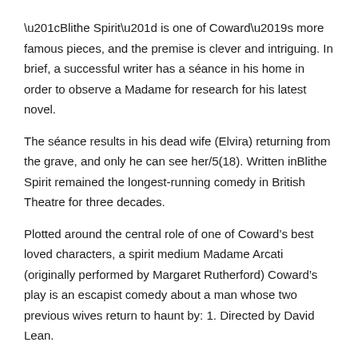“Blithe Spirit” is one of Coward’s more famous pieces, and the premise is clever and intriguing. In brief, a successful writer has a séance in his home in order to observe a Madame for research for his latest novel.
The séance results in his dead wife (Elvira) returning from the grave, and only he can see her/5(18). Written inBlithe Spirit remained the longest-running comedy in British Theatre for three decades.
Plotted around the central role of one of Coward’s best loved characters, a spirit medium Madame Arcati (originally performed by Margaret Rutherford) Coward’s play is an escapist comedy about a man whose two previous wives return to haunt by: 1. Directed by David Lean.
With Rex Harrison, Constance Cummings, Kay Hammond, Margaret Rutherford. Charles and his second wife Ruth are haunted by the spirit of his first wife, Elvira. Medium Madame Arcati tries to help things out by contacting the ghost/10(K). Blithe Spirit by Noël Coward in CHM, FB2, RTF download e-book.